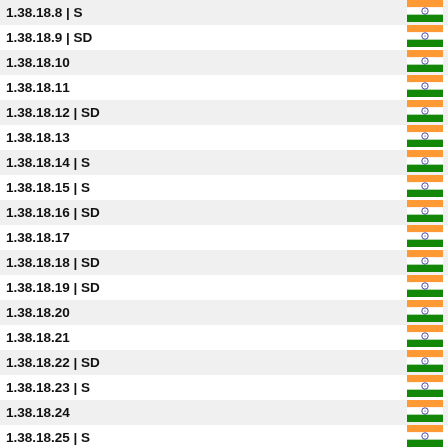| IP | Flag |
| --- | --- |
| 1.38.18.8 | S | IN |
| 1.38.18.9 | SD | IN |
| 1.38.18.10 | IN |
| 1.38.18.11 | IN |
| 1.38.18.12 | SD | IN |
| 1.38.18.13 | IN |
| 1.38.18.14 | S | IN |
| 1.38.18.15 | S | IN |
| 1.38.18.16 | SD | IN |
| 1.38.18.17 | IN |
| 1.38.18.18 | SD | IN |
| 1.38.18.19 | SD | IN |
| 1.38.18.20 | IN |
| 1.38.18.21 | IN |
| 1.38.18.22 | SD | IN |
| 1.38.18.23 | S | IN |
| 1.38.18.24 | IN |
| 1.38.18.25 | S | IN |
| 1.38.18.26 | SD | IN |
| 1.38.18.27 | SD | IN |
| 1.38.18.28 | S | IN |
| 1.38.18.29 | S | IN |
| 1.38.18.30 | IN |
| 1.38.18.31 | S | IN |